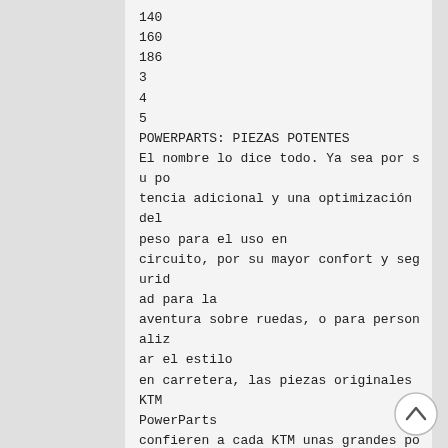140
160
186
3
4
5
POWERPARTS: PIEZAS POTENTES
El nombre lo dice todo. Ya sea por su potencia adicional y una optimización del peso para el uso en circuito, por su mayor confort y seguridad para la aventura sobre ruedas, o para personalizar el estilo en carretera, las piezas originales KTM PowerParts confieren a cada KTM unas grandes posibilidades de mejora. Además, la estrecha colaboración con el departamento de competición y con fabricantes de primera línea, garantizan la más alta calidad y un